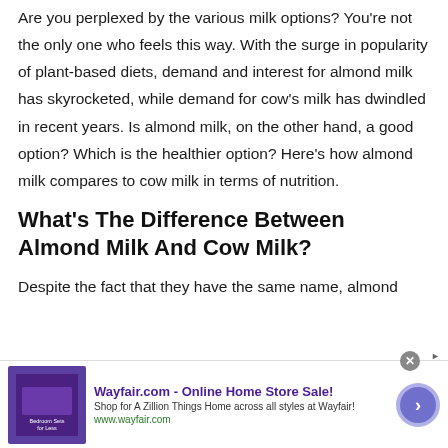Are you perplexed by the various milk options? You're not the only one who feels this way. With the surge in popularity of plant-based diets, demand and interest for almond milk has skyrocketed, while demand for cow's milk has dwindled in recent years. Is almond milk, on the other hand, a good option? Which is the healthier option? Here's how almond milk compares to cow milk in terms of nutrition.
What's The Difference Between Almond Milk And Cow Milk?
Despite the fact that they have the same name, almond
[Figure (other): Wayfair.com advertisement banner. Shows a purple bedroom sets image on the left, Wayfair.com - Online Home Store Sale! title in purple, subtitle text 'Shop for A Zillion Things Home across all styles at Wayfair!', URL www.wayfair.com in green, and a purple arrow button on the right. Close (X) button in top right.]